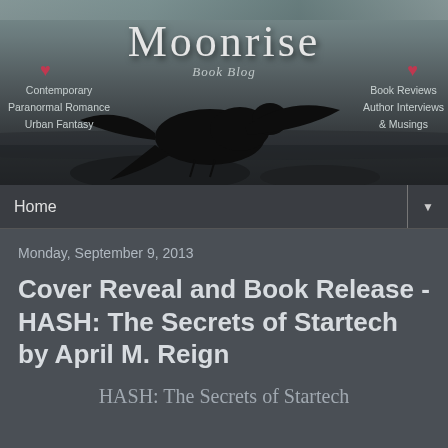[Figure (illustration): Moonrise Book Blog banner header with a raven/crow silhouette against a dark moody ocean/water background. Text includes 'Moonrise' in large serif font, 'Book Blog' in italic script, left side lists 'Contemporary, Paranormal Romance, Urban Fantasy', right side lists 'Book Reviews, Author Interviews & Musings'. Two heart icons flank the subtitle.]
Home
Monday, September 9, 2013
Cover Reveal and Book Release - HASH: The Secrets of Startech by April M. Reign
HASH: The Secrets of Startech